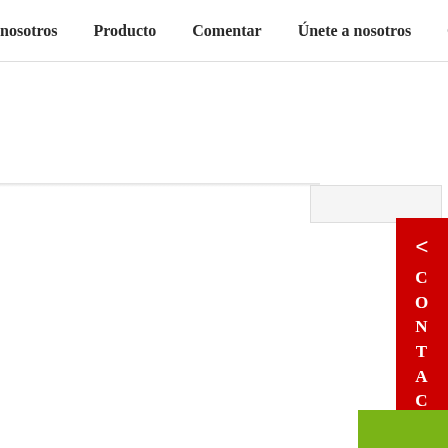nosotros   Producto   Comentar   Únete a nosotros   C
[Figure (screenshot): Red vertical contact tab on right side with arrow and CONTACT text in white, green button at bottom right]
< CONTACT